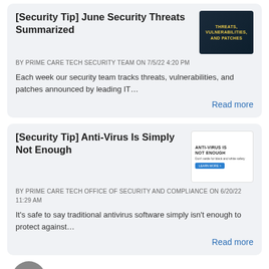[Security Tip] June Security Threats Summarized
BY PRIME CARE TECH SECURITY TEAM ON 7/5/22 4:20 PM
Each week our security team tracks threats, vulnerabilities, and patches announced by leading IT…
Read more
[Security Tip] Anti-Virus Is Simply Not Enough
BY PRIME CARE TECH OFFICE OF SECURITY AND COMPLIANCE ON 6/20/22 11:29 AM
It's safe to say traditional antivirus software simply isn't enough to protect against…
Read more